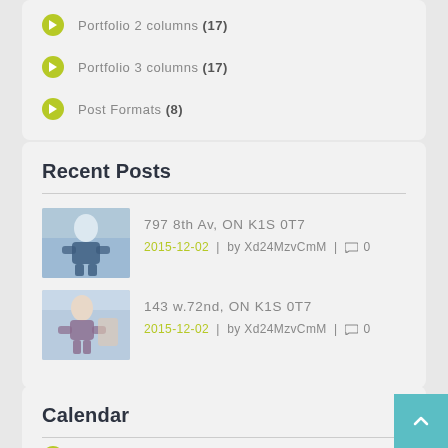Portfolio 2 columns (17)
Portfolio 3 columns (17)
Post Formats (8)
Recent Posts
[Figure (photo): Thumbnail image of a person exercising, post for 797 8th Av, ON K1S 0T7]
797 8th Av, ON K1S 0T7
2015-12-02 | by Xd24MzvCmM | 0
[Figure (photo): Thumbnail image of a person exercising, post for 143 w.72nd, ON K1S 0T7]
143 w.72nd, ON K1S 0T7
2015-12-02 | by Xd24MzvCmM | 0
Calendar